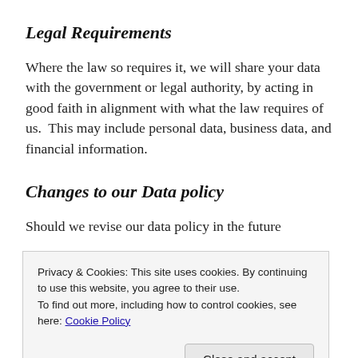Legal Requirements
Where the law so requires it, we will share your data with the government or legal authority, by acting in good faith in alignment with what the law requires of us.  This may include personal data, business data, and financial information.
Changes to our Data policy
Should we revise our data policy in the future
Privacy & Cookies: This site uses cookies. By continuing to use this website, you agree to their use.
To find out more, including how to control cookies, see here: Cookie Policy
when you submit your personal details via the